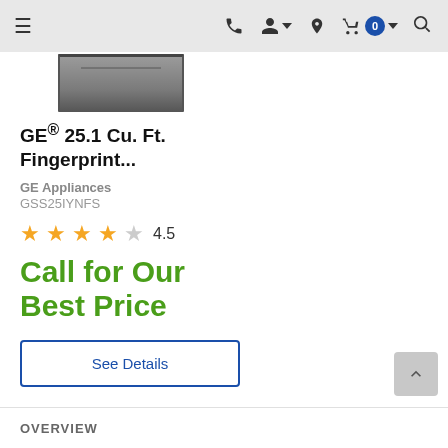Navigation bar with hamburger menu, phone, account, location, cart (0), search icons
[Figure (photo): Partial product photo of GE refrigerator in slate/stainless finish, cropped at top]
GE® 25.1 Cu. Ft. Fingerprint...
GE Appliances
GSS25IYNFS
4.5 stars rating
Call for Our Best Price
See Details
OVERVIEW